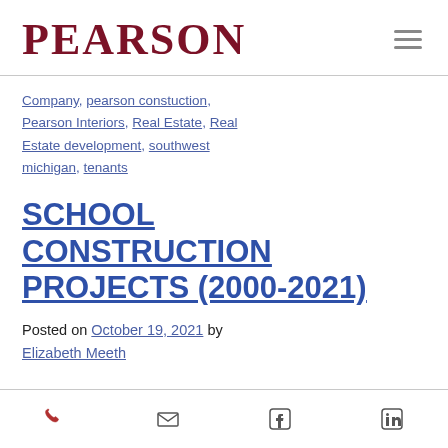PEARSON
Company, pearson constuction, Pearson Interiors, Real Estate, Real Estate development, southwest michigan, tenants
SCHOOL CONSTRUCTION PROJECTS (2000-2021)
Posted on October 19, 2021 by Elizabeth Meeth
[phone] [email] [facebook] [linkedin]